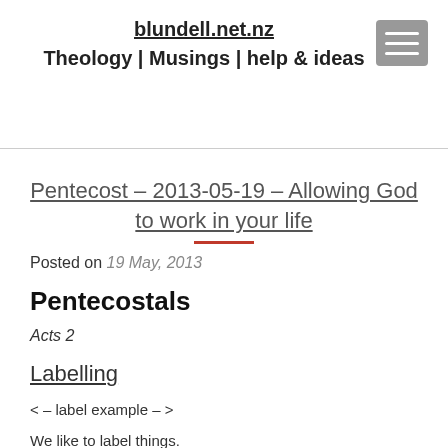blundell.net.nz
Theology | Musings | help & ideas
Pentecost – 2013-05-19 – Allowing God to work in your life
Posted on 19 May, 2013
Pentecostals
Acts 2
Labelling
< – label example – >
We like to label things.